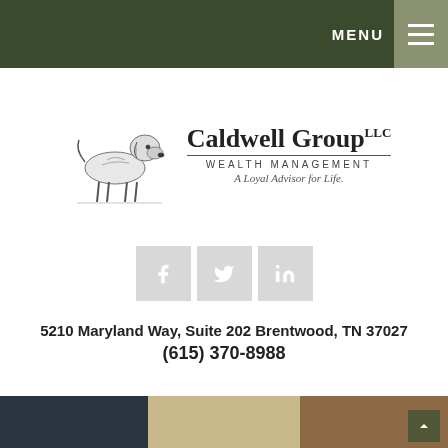MENU
[Figure (logo): Caldwell Group LLC Wealth Management logo with illustration of a dog (retriever) and text 'Caldwell Group LLC WEALTH MANAGEMENT A Loyal Advisor for Life.']
[Figure (infographic): Three social media icon buttons: Facebook (f), Twitter bird, LinkedIn (in) in grey square buttons]
5210 Maryland Way, Suite 202 Brentwood, TN 37027
(615) 370-8988
[Figure (photo): Partial bottom photo strip showing three sections: dark navy/black on left, beige/cream in middle, brown on right — appears to be people or objects cropped at bottom of page]